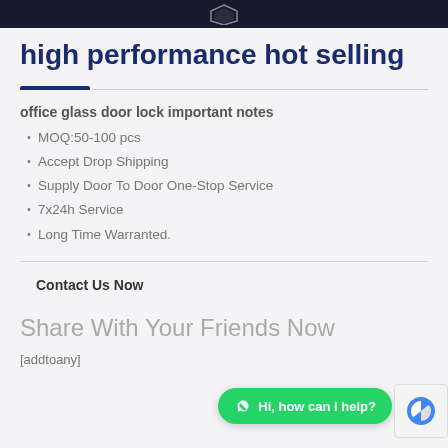high performance hot selling
office glass door lock important notes
MOQ:50-100 pcs
Accept Drop Shipping
Supply Door To Door One-Stop Service
7x24h Service
Long Time Warranted.
Contact Us Now
Share With Your Friends Now
[addtoany]